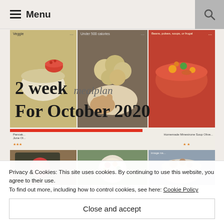Menu
[Figure (screenshot): Screenshot of a food blog showing a 2 week meal plan for October 2020 with a grid of food category images: Veggie, Under 500 calories, Beans pulses soups or frugal]
Privacy & Cookies: This site uses cookies. By continuing to use this website, you agree to their use.
To find out more, including how to control cookies, see here: Cookie Policy
Close and accept